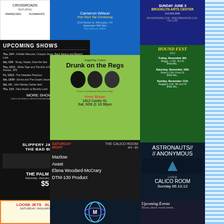[Figure (flyer): Crossroads show flyer with band logos, featuring Papadosio and Konnants]
[Figure (flyer): Upcoming Shows list at black background venue - Thu 12/4, Sat 12/6, Thu 12/11, Fri 12/13, Sat 12/20, Sat 1/3, Thu 1/15, MORE SHOWS TBA]
[Figure (flyer): Cameron Wilson comedy flyer, Port City's Top Comicsong, Market St Wilmington NC, September 24th]
[Figure (flyer): Juggling Gypsy: Drunk on the Regs - Free Show 1612 Castle St, Sat 9/28 at 10:30pm]
[Figure (flyer): Slippery Jake and the Bad Brakes at The Palm Room, Saturday January 19th, $5]
[Figure (flyer): Loose Jets / Slomo Dingo Saturday January 15 10:00pm]
[Figure (flyer): Saturday night show at The Calico Room with Mazlow, Avast, Elena Woodard-McCrary, DTM-130 Product]
[Figure (flyer): Mystery logo / symbol band artwork]
[Figure (flyer): Sunday June 3 Brooklyn Arts Center flyer]
[Figure (flyer): Hound Fest event flyer, Friday November 9th, Saturday November 10th, Sunday November 11th]
[Figure (flyer): Astronauts // Anonymous at Calico Room Live Sunday 06.10.12]
[Figure (flyer): Upcoming Events flyer]